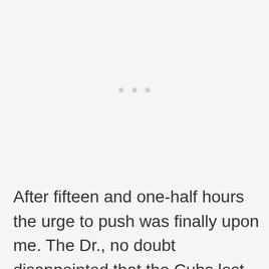[Figure (other): Three small light gray dots centered on the upper portion of the page, suggesting a loading indicator or section break.]
After fifteen and one-half hours the urge to push was finally upon me. The Dr., no doubt disappointed that the Cubs lost, came in to make the delivery. The delivery was mostly